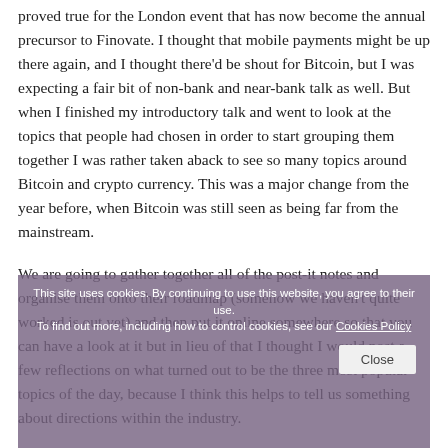proved true for the London event that has now become the annual precursor to Finovate. I thought that mobile payments might be up there again, and I thought there'd be shout for Bitcoin, but I was expecting a fair bit of non-bank and near-bank talk as well. But when I finished my introductory talk and went to look at the topics that people had chosen in order to start grouping them together I was rather taken aback to see so many topics around Bitcoin and crypto currency. This was a major change from the year before, when Bitcoin was still seen as being far from the mainstream.
We are going to gather together all of the post-it notes and organise them onto their roadmap (somehow we haven't quite worked is out yet) and then put it online somewhere so that you can have a look at it but in lieu of that I thought I would post a few reflections on what turned out to be the three most popular topics of the day, because I think this helps to tell us something about directions within the industry.
This site uses cookies. By continuing to use this website, you agree to their use. To find out more, including how to control cookies, see our Cookies Policy